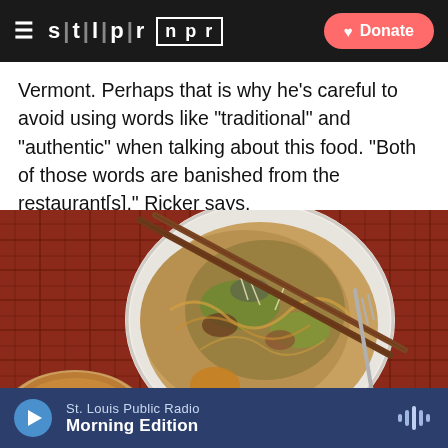STLPR NPR | Donate
Vermont. Perhaps that is why he's careful to avoid using words like "traditional" and "authentic" when talking about this food. "Both of those words are banished from the restaurant[s]," Ricker says.
[Figure (photo): Overhead view of a white bowl filled with noodles, vegetables, and toppings with chopsticks resting across it, alongside a small soup bowl, placed on a red plaid tablecloth.]
St. Louis Public Radio | Morning Edition